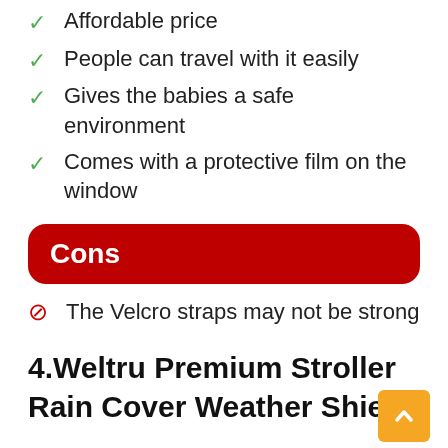✓ Affordable price
✓ People can travel with it easily
✓ Gives the babies a safe environment
✓ Comes with a protective film on the window
Cons
⊘ The Velcro straps may not be strong
4.Weltru Premium Stroller Rain Cover Weather Shield